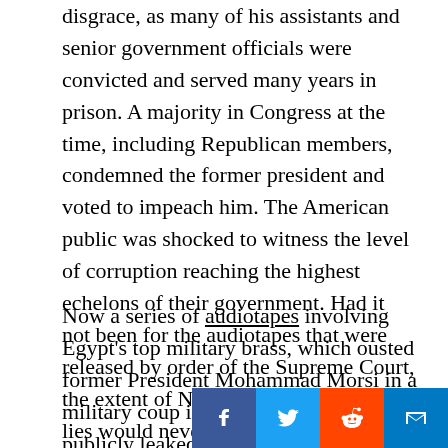disgrace, as many of his assistants and senior government officials were convicted and served many years in prison. A majority in Congress at the time, including Republican members, condemned the former president and voted to impeach him. The American public was shocked to witness the level of corruption reaching the highest echelons of their government. Had it not been for the audiotapes that were released by order of the Supreme Court, the extent of Nixon's lawlessness and lies would never have been revealed or believed.
Now a series of audiotapes involving Egypt's top military brass, which ousted former President Mohammad Morsi in a military coup in July 2013, were publicly leaked this week. The pro-Muslim Brotherhood satellite channel Mukameleen (Arabic for "We'll Continue") released the six audio recordings (see links 1, 2, 3, 4, 5, 6) in a special nightly program on December 4. Shortly thereafter, th...